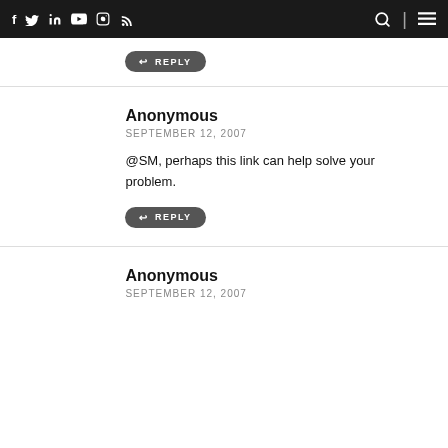f  twitter  in  youtube  instagram  rss  [search] [menu]
↩ REPLY
Anonymous
SEPTEMBER 12, 2007

@SM, perhaps this link can help solve your problem.
↩ REPLY
Anonymous
SEPTEMBER 12, 2007